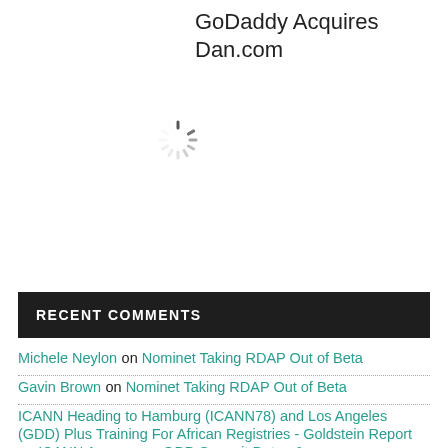GoDaddy Acquires Dan.com
[Figure (illustration): A loading spinner icon (circular dashed spinner in gray tones)]
RECENT COMMENTS
Michele Neylon on Nominet Taking RDAP Out of Beta
Gavin Brown on Nominet Taking RDAP Out of Beta
ICANN Heading to Hamburg (ICANN78) and Los Angeles (GDD) Plus Training For African Registries - Goldstein Report on ICANN Announces GDD Summit Dates & Locations